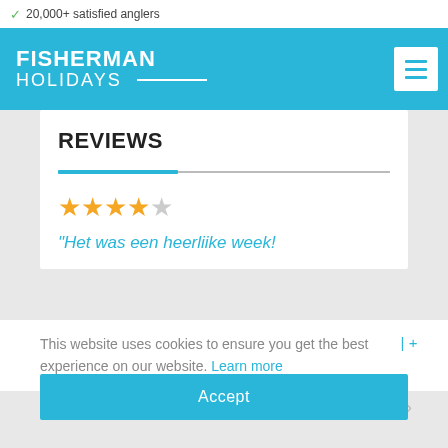✓ 20,000+ satisfied anglers
FISHERMAN HOLIDAYS
REVIEWS
[Figure (other): Star rating: 4 out of 5 stars (4 filled gold stars, 1 grey star)]
"Het was een heerliike week!
This website uses cookies to ensure you get the best experience on our website. Learn more
Accept